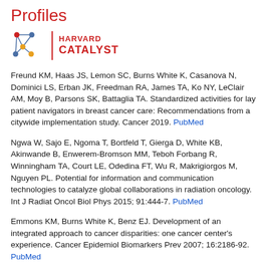Profiles
[Figure (logo): Harvard Catalyst logo with network graph icon and text HARVARD CATALYST]
Freund KM, Haas JS, Lemon SC, Burns White K, Casanova N, Dominici LS, Erban JK, Freedman RA, James TA, Ko NY, LeClair AM, Moy B, Parsons SK, Battaglia TA. Standardized activities for lay patient navigators in breast cancer care: Recommendations from a citywide implementation study. Cancer 2019. PubMed
Ngwa W, Sajo E, Ngoma T, Bortfeld T, Gierga D, White KB, Akinwande B, Enwerem-Bromson MM, Teboh Forbang R, Winningham TA, Court LE, Odedina FT, Wu R, Makrigiorgos M, Nguyen PL. Potential for information and communication technologies to catalyze global collaborations in radiation oncology. Int J Radiat Oncol Biol Phys 2015; 91:444-7. PubMed
Emmons KM, Burns White K, Benz EJ. Development of an integrated approach to cancer disparities: one cancer center's experience. Cancer Epidemiol Biomarkers Prev 2007; 16:2186-92. PubMed